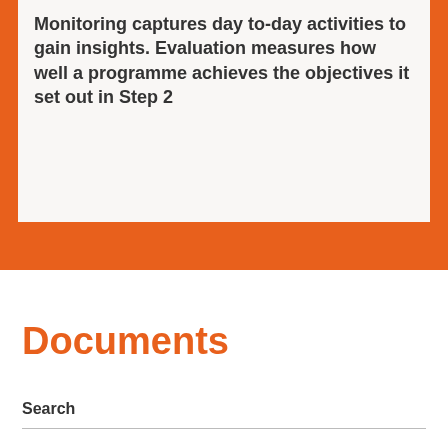Monitoring captures day to-day activities to gain insights. Evaluation measures how well a programme achieves the objectives it set out in Step 2
Documents
Search